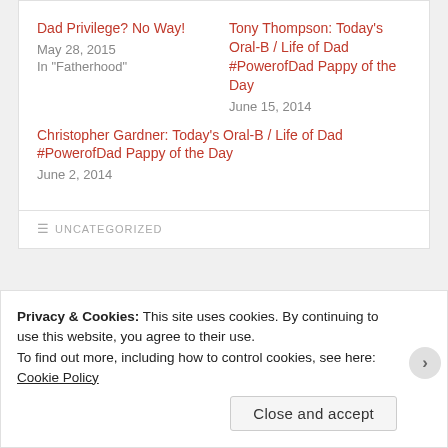Dad Privilege? No Way!
May 28, 2015
In "Fatherhood"
Tony Thompson: Today's Oral-B / Life of Dad #PowerofDad Pappy of the Day
June 15, 2014
Christopher Gardner: Today's Oral-B / Life of Dad #PowerofDad Pappy of the Day
June 2, 2014
UNCATEGORIZED
Privacy & Cookies: This site uses cookies. By continuing to use this website, you agree to their use.
To find out more, including how to control cookies, see here: Cookie Policy
Close and accept